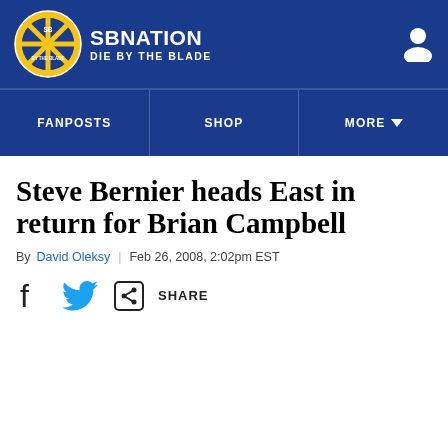SB NATION | DIE BY THE BLADE
FANPOSTS | SHOP | MORE
Steve Bernier heads East in return for Brian Campbell
By David Oleksy | Feb 26, 2008, 2:02pm EST
SHARE